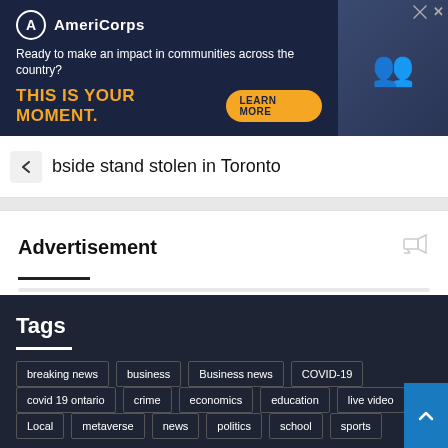[Figure (screenshot): AmeriCorps advertisement banner with dark blue background. Logo with 'A' in a circle, brand name 'AmeriCorps', tagline 'Ready to make an impact in communities across the country?', yellow bold text 'THIS IS YOUR MOMENT.', and a yellow 'LEARN MORE' button. Right side shows people at computers.]
bside stand stolen in Toronto
Advertisement
Tags
breaking news
business
Business news
COVID-19
covid 19 ontario
crime
economics
education
live video
Local
metaverse
news
politics
school
sports